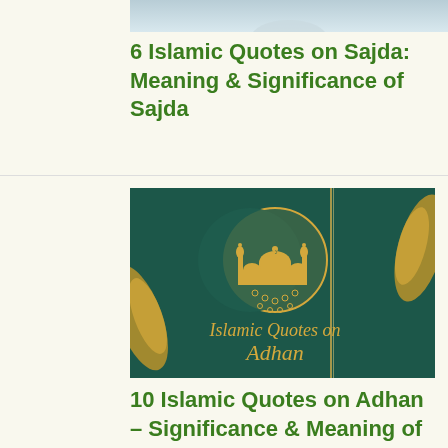[Figure (photo): Top portion of an image, light blue/grey tones, partially cropped]
6 Islamic Quotes on Sajda: Meaning & Significance of Sajda
[Figure (illustration): Dark green decorative Islamic art background with golden crescent moon, mosque silhouette, and text 'Islamic Quotes on Adhan' in gold italic script, with gold leaf/feather decorations on sides]
10 Islamic Quotes on Adhan – Significance & Meaning of Azān